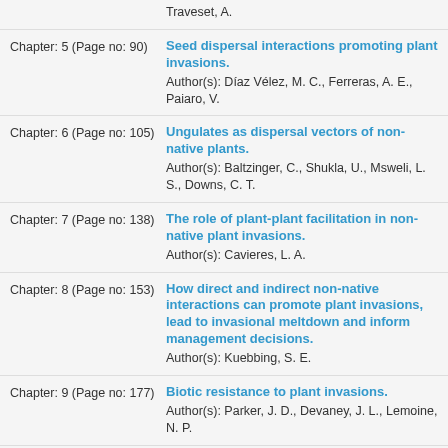Chapter: 5 (Page no: 90) — Seed dispersal interactions promoting plant invasions. Author(s): Díaz Vélez, M. C., Ferreras, A. E., Paiaro, V.
Chapter: 6 (Page no: 105) — Ungulates as dispersal vectors of non-native plants. Author(s): Baltzinger, C., Shukla, U., Msweli, L. S., Downs, C. T.
Chapter: 7 (Page no: 138) — The role of plant-plant facilitation in non-native plant invasions. Author(s): Cavieres, L. A.
Chapter: 8 (Page no: 153) — How direct and indirect non-native interactions can promote plant invasions, lead to invasional meltdown and inform management decisions. Author(s): Kuebbing, S. E.
Chapter: 9 (Page no: 177) — Biotic resistance to plant invasions. Author(s): Parker, J. D., Devaney, J. L., Lemoine, N. P.
Chapter: 10 (Page no: 192) — EICA 2.0: a general model of enemy release and defence in plant and animal invasions. Author(s): Honor, R., Colalutti, R. I.